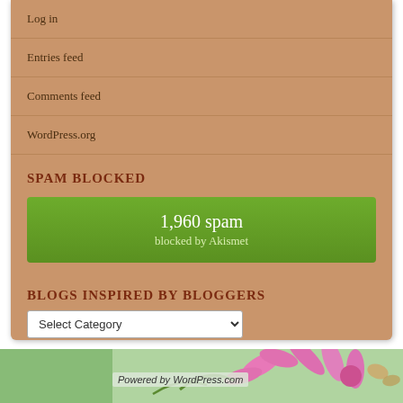Log in
Entries feed
Comments feed
WordPress.org
SPAM BLOCKED
[Figure (infographic): Green button/badge showing '1,960 spam blocked by Akismet']
BLOGS INSPIRED BY BLOGGERS
Select Category
[Figure (photo): Pink flower with green background at bottom of page]
Powered by WordPress.com